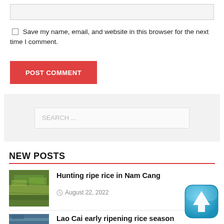Save my name, email, and website in this browser for the next time I comment.
POST COMMENT
SEARCH ...
NEW POSTS
Hunting ripe rice in Nam Cang
August 22, 2022
[Figure (photo): Aerial photo of terraced rice fields in Nam Cang]
Lao Cai early ripening rice season
[Figure (photo): Photo of Lao Cai rice field landscape]
[Figure (illustration): Blue rounded square with white upward arrow button (scroll-to-top)]